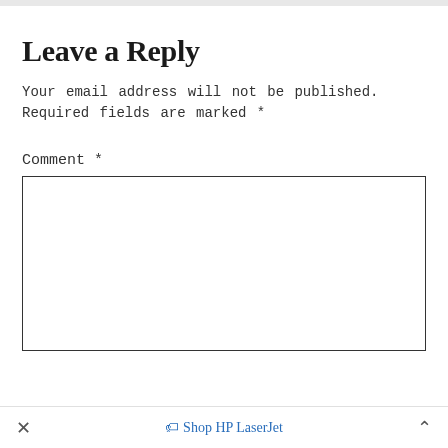Leave a Reply
Your email address will not be published. Required fields are marked *
Comment *
× 🏷 Shop HP LaserJet ^